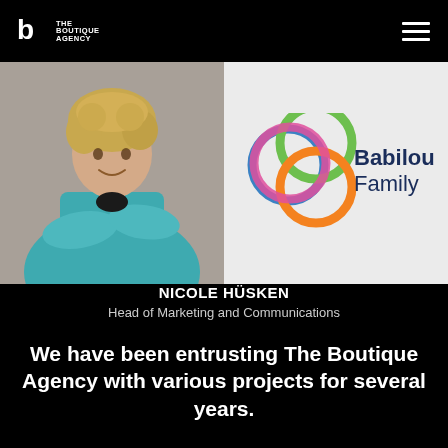The Boutique Agency
[Figure (photo): Professional headshot of Nicole Hüsken, a woman with curly blonde hair wearing a teal blazer with arms crossed, photographed against a grey background]
[Figure (logo): Babilou Family logo: colorful overlapping circles (green, orange, pink, blue) next to the text 'Babilou Family' in dark navy blue]
NICOLE HÜSKEN
Head of Marketing and Communications
We have been entrusting The Boutique Agency with various projects for several years.